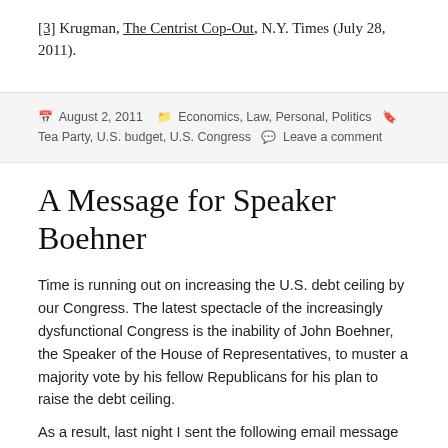[3] Krugman, The Centrist Cop-Out, N.Y. Times (July 28, 2011).
August 2, 2011   Economics, Law, Personal, Politics   Tea Party, U.S. budget, U.S. Congress   Leave a comment
A Message for Speaker Boehner
Time is running out on increasing the U.S. debt ceiling by our Congress. The latest spectacle of the increasingly dysfunctional Congress is the inability of John Boehner, the Speaker of the House of Representatives, to muster a majority vote by his fellow Republicans for his plan to raise the debt ceiling.
As a result, last night I sent the following email message